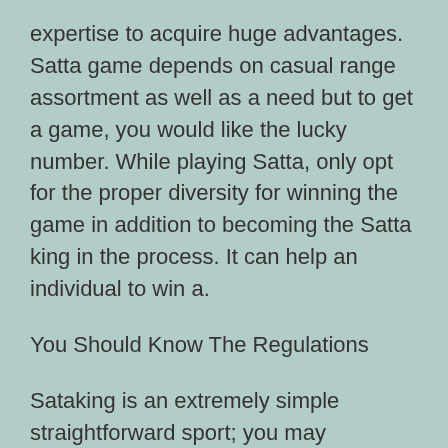expertise to acquire huge advantages. Satta game depends on casual range assortment as well as a need but to get a game, you would like the lucky number. While playing Satta, only opt for the proper diversity for winning the game in addition to becoming the Satta king in the process. It can help an individual to win a.
You Should Know The Regulations
Sataking is an extremely simple straightforward sport; you may effortlessly recognize the format and rules of Matka draws